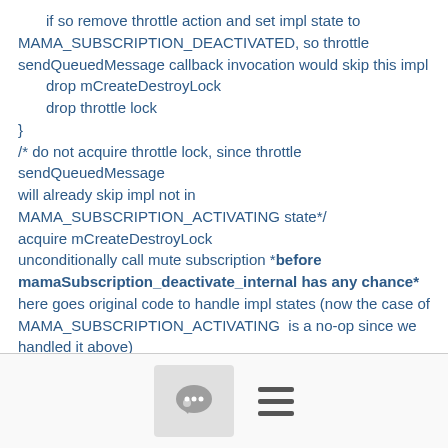if so remove throttle action and set impl state to MAMA_SUBSCRIPTION_DEACTIVATED, so throttle sendQueuedMessage callback invocation would skip this impl
  drop mCreateDestroyLock
  drop throttle lock
}
/* do not acquire throttle lock, since throttle sendQueuedMessage will already skip impl not in MAMA_SUBSCRIPTION_ACTIVATING state*/
acquire mCreateDestroyLock
unconditionally call mute subscription *before mamaSubscription_deactivate_internal has any chance*
here goes original code to handle impl states (now the case of MAMA_SUBSCRIPTION_ACTIVATING  is a no-op since we handled it above)
drop mCreateDestroyLock
[Figure (other): Show quoted text button (teal/green rounded rectangle)]
[Figure (other): Bottom navigation bar with chat bubble icon and hamburger menu icon]